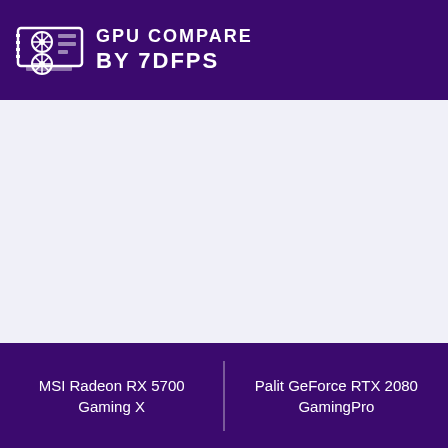GPU COMPARE BY 7DFPS
[Figure (other): Large empty lavender/light purple background area — main content area placeholder]
MSI Radeon RX 5700 Gaming X | Palit GeForce RTX 2080 GamingPro